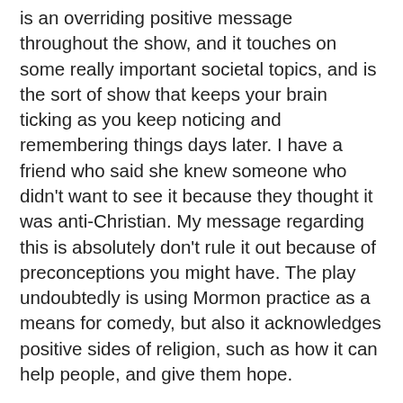is an overriding positive message throughout the show, and it touches on some really important societal topics, and is the sort of show that keeps your brain ticking as you keep noticing and remembering things days later. I have a friend who said she knew someone who didn't want to see it because they thought it was anti-Christian. My message regarding this is absolutely don't rule it out because of preconceptions you might have. The play undoubtedly is using Mormon practice as a means for comedy, but also it acknowledges positive sides of religion, such as how it can help people, and give them hope.
Just go and watch it.
The current cast of The Book of Mormon on the West End features Dom Simpson as Elder Price, J. Michael Finley as Elder Cunningham, Leanne Robinson as